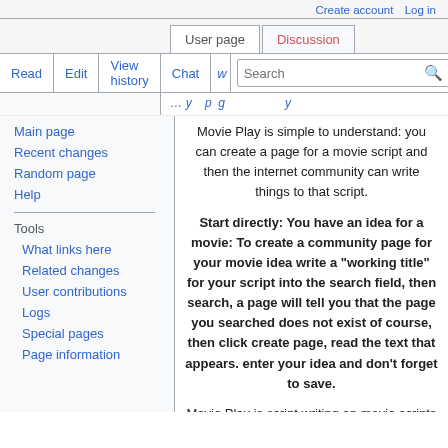Create account   Log in
User page   Discussion
Read   Edit   View history   Chat   Search
Movie Play is simple to understand: you can create a page for a movie script and then the internet community can write things to that script.
Start directly: You have an idea for a movie: To create a community page for your movie idea write a "working title" for your script into the search field, then search, a page will tell you that the page you searched does not exist of course, then click create page, read the text that appears. enter your idea and don't forget to save.
Movie Play is script writing on movie scripts where everybody can write something. By submitting an idea you admit that everybody can use it in every form. You are welcome as an author: Click Edit in the top right corner of any script and contribute your ideas. If you
Main page
Recent changes
Random page
Help
What links here
Related changes
User contributions
Logs
Special pages
Page information